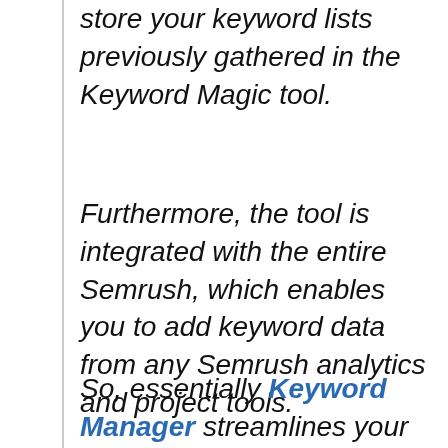store your keyword lists previously gathered in the Keyword Magic tool.
Furthermore, the tool is integrated with the entire Semrush, which enables you to add keyword data from any Semrush analytics and project tools.
So, essentially Keyword Manager streamlines your entire keyword research job.